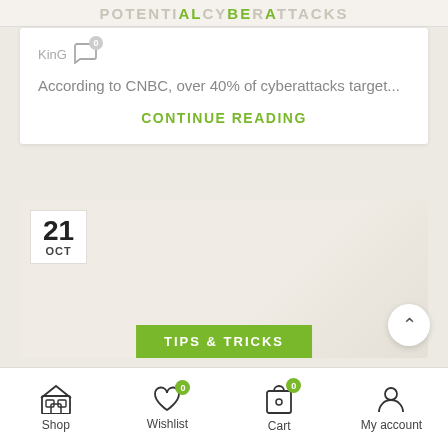POTENTIALLY CYBERATTACKS
KinG  0
According to CNBC, over 40% of cyberattacks target...
CONTINUE READING
21 OCT
TIPS & TRICKS
Shop  Wishlist 0  Cart 0  My account